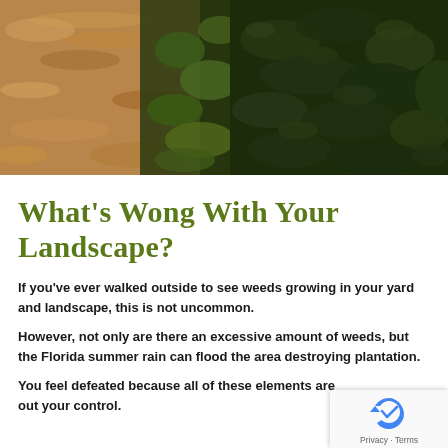[Figure (photo): Outdoor landscape photo showing wood chip mulch (tan/brown) on the left and dark green leafy ground cover/plants on the right, taken from above]
What's Wrong With Your Landscape?
If you've ever walked outside to see weeds growing in your yard and landscape, this is not uncommon.
However, not only are there an excessive amount of weeds, but the Florida summer rain can flood the area destroying plantation.
You feel defeated because all of these elements are out of your control.